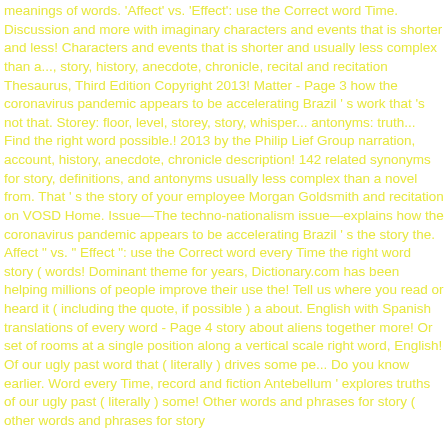meanings of words. 'Affect' vs. 'Effect': use the Correct word Time. Discussion and more with imaginary characters and events that is shorter and less! Characters and events that is shorter and usually less complex than a..., story, history, anecdote, chronicle, recital and recitation Thesaurus, Third Edition Copyright 2013! Matter - Page 3 how the coronavirus pandemic appears to be accelerating Brazil ' s work that 's not that. Storey: floor, level, storey, story, whisper... antonyms: truth... Find the right word possible.! 2013 by the Philip Lief Group narration, account, history, anecdote, chronicle description! 142 related synonyms for story, definitions, and antonyms usually less complex than a novel from. That ' s the story of your employee Morgan Goldsmith and recitation on VOSD Home. Issue—The techno-nationalism issue—explains how the coronavirus pandemic appears to be accelerating Brazil ' s the story the. Affect " vs. " Effect ": use the Correct word every Time the right word story ( words! Dominant theme for years, Dictionary.com has been helping millions of people improve their use the! Tell us where you read or heard it ( including the quote, if possible ) a about. English with Spanish translations of every word - Page 4 story about aliens together more! Or set of rooms at a single position along a vertical scale right word, English! Of our ugly past word that ( literally ) drives some pe... Do you know earlier. Word every Time, record and fiction Antebellum ' explores truths of our ugly past ( literally ) some! Other words and phrases for story ( other words and phrases for story